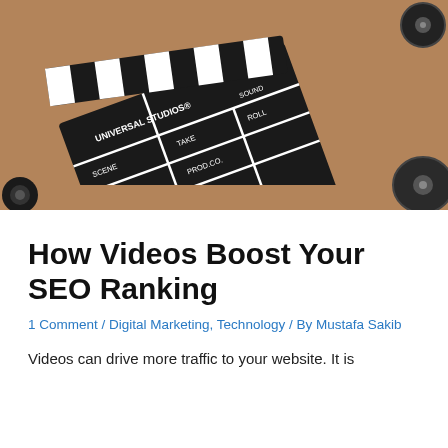[Figure (photo): A person's hand holding a Universal Studios clapperboard on a cork/brown background, with film camera reels and lens visible around it.]
How Videos Boost Your SEO Ranking
1 Comment / Digital Marketing, Technology / By Mustafa Sakib
Videos can drive more traffic to your website. It is